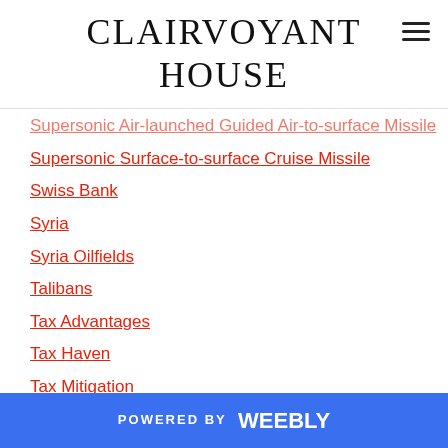CLAIRVOYANT HOUSE
Supersonic Air-launched Guided Air-to-surface Missile
Supersonic Surface-to-surface Cruise Missile
Swiss Bank
Syria
Syria Oilfields
Talibans
Tax Advantages
Tax Haven
Tax Mitigation
Tedros Adhanom
Tedros Adhsnom Ghebreyesus
Tehran
Tel Aviv
Teleportation
Terrakinesis
POWERED BY weebly